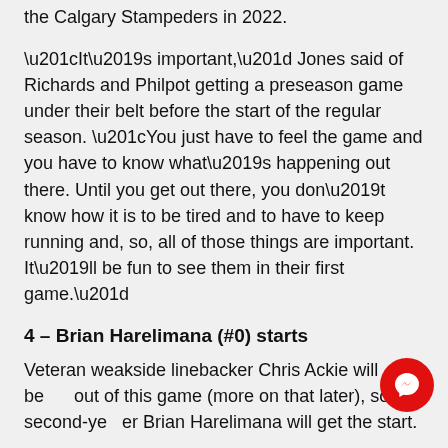Philpot with a round, but, was drafted 19th Overall by the Calgary Stampeders in 2022.
“It’s important,” Jones said of Richards and Philpot getting a preseason game under their belt before the start of the regular season. “You just have to feel the game and you have to know what’s happening out there. Until you get out there, you don’t know how it is to be tired and to have to keep running and, so, all of those things are important. It’ll be fun to see them in their first game.”
4 – Brian Harelimana (#0) starts
Veteran weakside linebacker Chris Ackie will be out of this game (more on that later), so second-year Brian Harelimana will get the start.